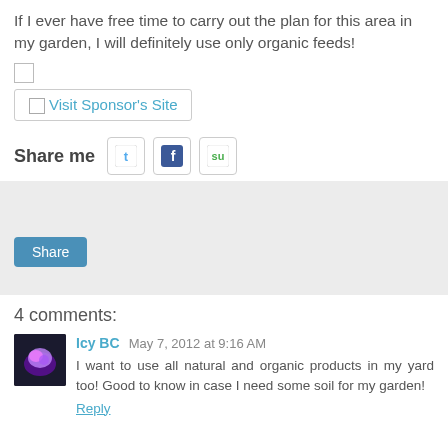If I ever have free time to carry out the plan for this area in my garden, I will definitely use only organic feeds!
[Figure (other): Visit Sponsor's Site button/link with border]
Share me [Twitter icon] [Facebook icon] [StumbleUpon icon]
[Figure (other): Facebook share widget area with Share button]
4 comments:
[Figure (photo): Avatar photo of commenter Icy BC, purple flower image]
Icy BC May 7, 2012 at 9:16 AM
I want to use all natural and organic products in my yard too! Good to know in case I need some soil for my garden!
Reply